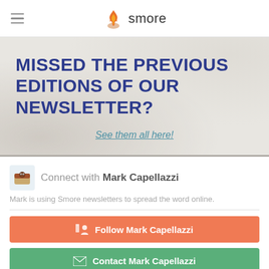smore
MISSED THE PREVIOUS EDITIONS OF OUR NEWSLETTER?
See them all here!
Connect with Mark Capellazzi
Mark is using Smore newsletters to spread the word online.
Follow Mark Capellazzi
Contact Mark Capellazzi